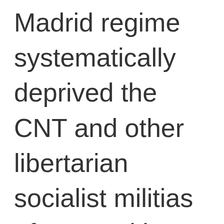Madrid regime systematically deprived the CNT and other libertarian socialist militias of ammunition and victuals. No small